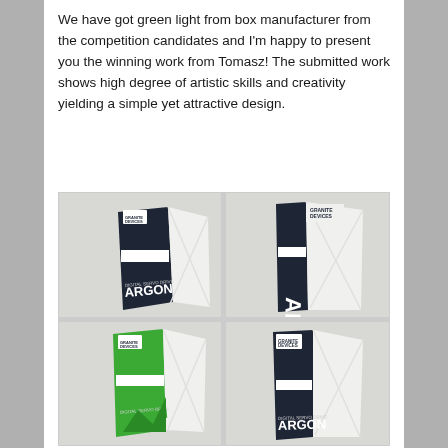We have got green light from box manufacturer from the competition candidates and I'm happy to present you the winning work from Tomasz! The submitted work shows high degree of artistic skills and creativity yielding a simple yet attractive design.
[Figure (photo): Four photographs of ARGON Digital Servo Drive product packaging boxes by Granite Devices. Top row: two views of a dark navy/black and white box. Bottom row: a green and white version, and another dark navy/black and white version.]